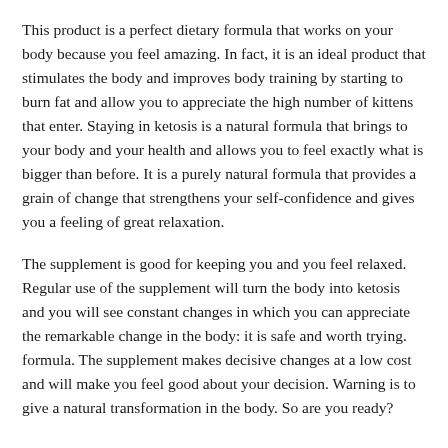This product is a perfect dietary formula that works on your body because you feel amazing. In fact, it is an ideal product that stimulates the body and improves body training by starting to burn fat and allow you to appreciate the high number of kittens that enter. Staying in ketosis is a natural formula that brings to your body and your health and allows you to feel exactly what is bigger than before. It is a purely natural formula that provides a grain of change that strengthens your self-confidence and gives you a feeling of great relaxation.
The supplement is good for keeping you and you feel relaxed. Regular use of the supplement will turn the body into ketosis and you will see constant changes in which you can appreciate the remarkable change in the body: it is safe and worth trying. formula. The supplement makes decisive changes at a low cost and will make you feel good about your decision. Warning is to give a natural transformation in the body. So are you ready?